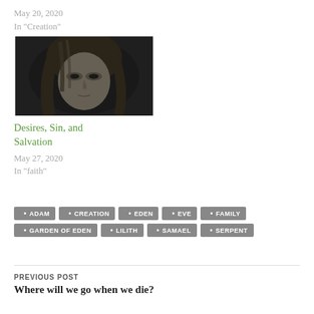May 20, 2020
In "Creation"
[Figure (photo): Black and white portrait photo of a young woman with long hair, looking to the side]
Desires, Sin, and Salvation
May 27, 2020
In "faith"
ADAM
CREATION
EDEN
EVE
FAMILY
GARDEN OF EDEN
LILITH
SAMAEL
SERPENT
PREVIOUS POST
Where will we go when we die?